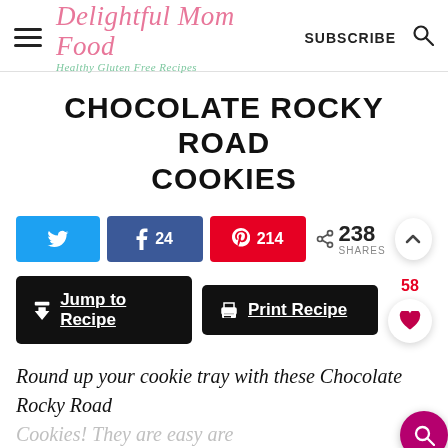Delightful Mom Food - Healthy Gluten Free Recipes | SUBSCRIBE
CHOCOLATE ROCKY ROAD COOKIES
[Figure (infographic): Social share buttons: Twitter, Facebook (24), Pinterest (214), and share count 238 SHARES]
[Figure (infographic): Action buttons: Jump to Recipe and Print Recipe]
Round up your cookie tray with these Chocolate Rocky Road Cookies! They are easy are